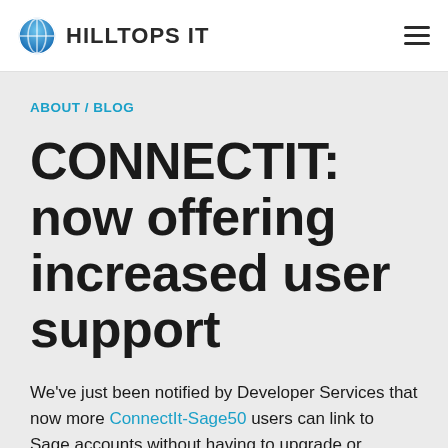HILLTOPS IT
ABOUT / BLOG
CONNECTIT: now offering increased user support
We've just been notified by Developer Services that now more ConnectIt-Sage50 users can link to Sage accounts without having to upgrade or purchase additional Sage